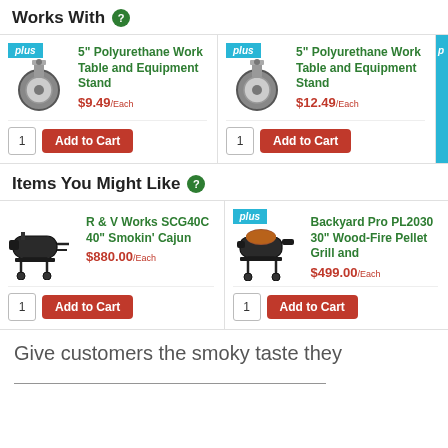Works With
[Figure (photo): Product card: 5" Polyurethane Work Table and Equipment Stand caster wheel, $9.49/Each, plus badge, Add to Cart button]
[Figure (photo): Product card: 5" Polyurethane Work Table and Equipment Stand caster wheel, $12.49/Each, plus badge, Add to Cart button]
Items You Might Like
[Figure (photo): Product card: R & V Works SCG40C 40" Smokin' Cajun, $880.00/Each, Add to Cart button]
[Figure (photo): Product card: Backyard Pro PL2030 30" Wood-Fire Pellet Grill and, $499.00/Each, plus badge, Add to Cart button]
Give customers the smoky taste they